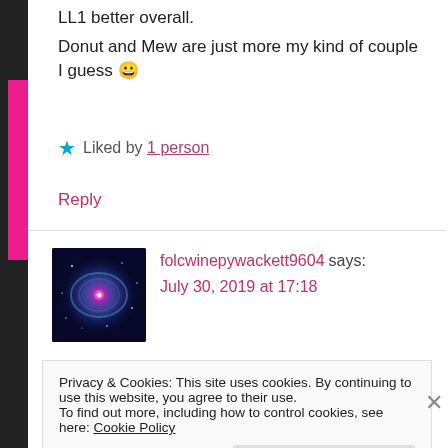LL1 better overall. Donut and Mew are just more my kind of couple I guess 😀
★ Liked by 1 person
Reply
folcwinepywackett9604 says:
July 30, 2019 at 17:18
Privacy & Cookies: This site uses cookies. By continuing to use this website, you agree to their use.
To find out more, including how to control cookies, see here: Cookie Policy
Close and accept